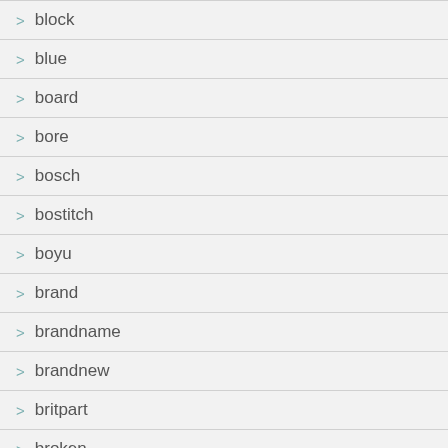> block
> blue
> board
> bore
> bosch
> bostitch
> boyu
> brand
> brandname
> brandnew
> britpart
> broken
> bubble